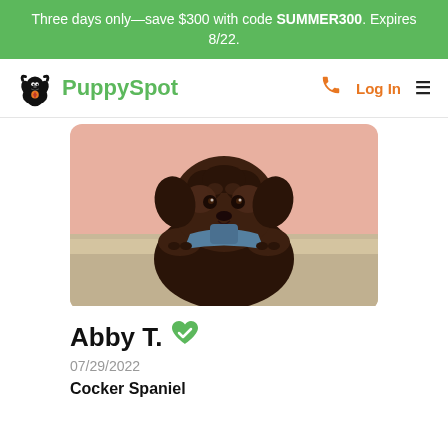Three days only—save $300 with code SUMMER300. Expires 8/22.
PuppySpot  Log In
[Figure (photo): A dark brown curly-haired puppy wearing a blue harness, resting its paws on a beige surface, photographed from slightly below against a pink wall background.]
Abby T.
07/29/2022
Cocker Spaniel